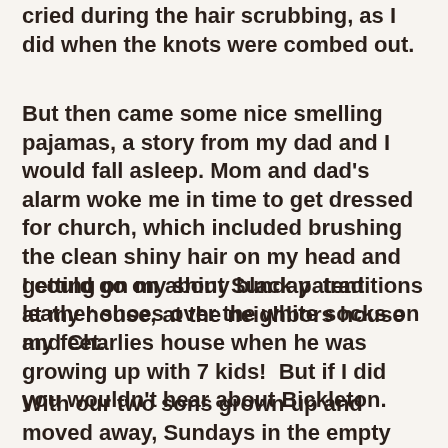cried during the hair scrubbing, as I did when the knots were combed out.
But then came some nice smelling pajamas, a story from my dad and I would fall asleep. Mom and dad's alarm woke me in time to get dressed for church, which included brushing the clean shiny hair on my head and getting on my shiny black patent leather shoes over the white socks on my feet.
I could go on about Sunday  traditions at my house, at the neighbors house and Charlies house when he was growing up with 7 kids!  But if I did you wouldn't hear about Bickleton.
With our two sons grown up and moved away, Sundays in the empty nest Clupny household